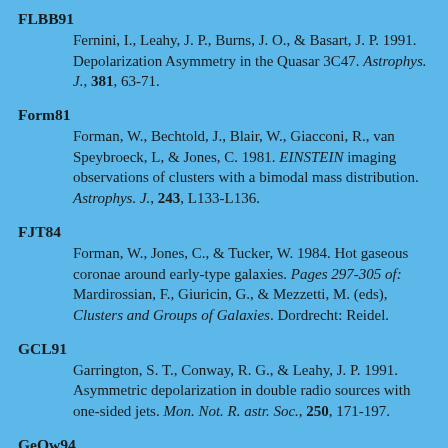FLBB91 — Fernini, I., Leahy, J. P., Burns, J. O., & Basart, J. P. 1991. Depolarization Asymmetry in the Quasar 3C47. Astrophys. J., 381, 63-71.
Form81 — Forman, W., Bechtold, J., Blair, W., Giacconi, R., van Speybroeck, L, & Jones, C. 1981. EINSTEIN imaging observations of clusters with a bimodal mass distribution. Astrophys. J., 243, L133-L136.
FJT84 — Forman, W., Jones, C., & Tucker, W. 1984. Hot gaseous coronae around early-type galaxies. Pages 297-305 of: Mardirossian, F., Giuricin, G., & Mezzetti, M. (eds), Clusters and Groups of Galaxies. Dordrecht: Reidel.
GCL91 — Garrington, S. T., Conway, R. G., & Leahy, J. P. 1991. Asymmetric depolarization in double radio sources with one-sided jets. Mon. Not. R. astr. Soc., 250, 171-197.
GeOw94 — Ge, Jingping, & Owen, Frazer N. 1994. Faraday rotation in cooling flow clusters of galaxies. II. Survey. Astr. J., 108, 1523-1533.